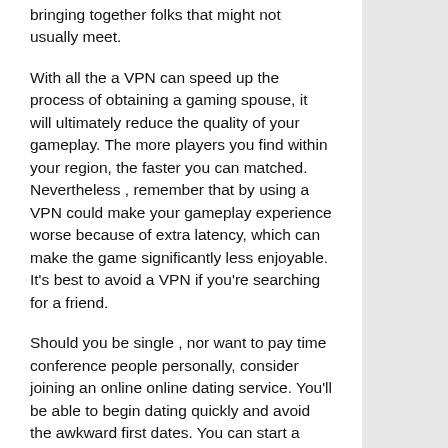These solutions have become very successful in bringing together folks that might not usually meet.
With all the a VPN can speed up the process of obtaining a gaming spouse, it will ultimately reduce the quality of your gameplay. The more players you find within your region, the faster you can matched. Nevertheless , remember that by using a VPN could make your gameplay experience worse because of extra latency, which can make the game significantly less enjoyable. It's best to avoid a VPN if you're searching for a friend.
Should you be single , nor want to pay time conference people personally, consider joining an online online dating service. You'll be able to begin dating quickly and avoid the awkward first dates. You can start a relationship the very next day with online dating. There are also local lovers, and meet up with someone who lives near you. With an online dating service, you don't have to bother about age or perhaps gender constraints. With the